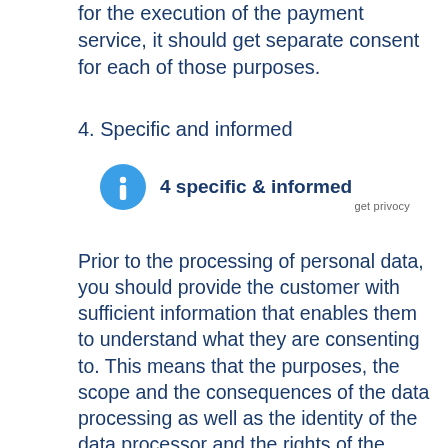for the execution of the payment service, it should get separate consent for each of those purposes.
4. Specific and informed
[Figure (infographic): Blue circular info icon with 'i' symbol followed by bold text '4 specific & informed' and 'get privocy' branding label on the right]
Prior to the processing of personal data, you should provide the customer with sufficient information that enables them to understand what they are consenting to. This means that the purposes, the scope and the consequences of the data processing as well as the identity of the data processor and the rights of the customer (see part III of these series) should be specifically described and communicated to the customer.